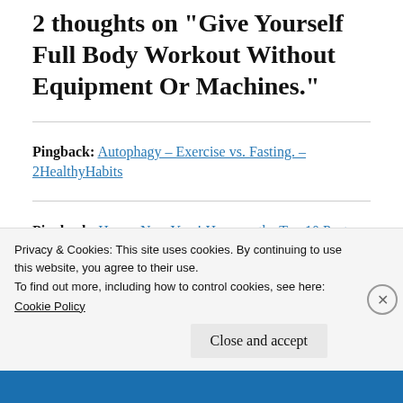2 thoughts on “Give Yourself Full Body Workout Without Equipment Or Machines.”
Pingback: Autophagy – Exercise vs. Fasting. – 2HealthyHabits
Pingback: Happy New Year! Here are the Top 10 Posts for 2021. – 2HealthyHabits
Privacy & Cookies: This site uses cookies. By continuing to use this website, you agree to their use.
To find out more, including how to control cookies, see here: Cookie Policy
Close and accept